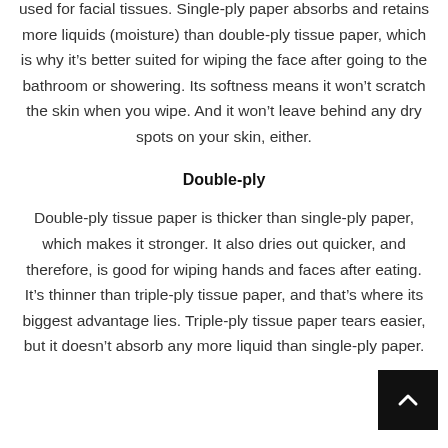used for facial tissues. Single-ply paper absorbs and retains more liquids (moisture) than double-ply tissue paper, which is why it's better suited for wiping the face after going to the bathroom or showering. Its softness means it won't scratch the skin when you wipe. And it won't leave behind any dry spots on your skin, either.
Double-ply
Double-ply tissue paper is thicker than single-ply paper, which makes it stronger. It also dries out quicker, and therefore, is good for wiping hands and faces after eating. It's thinner than triple-ply tissue paper, and that's where its biggest advantage lies. Triple-ply tissue paper tears easier, but it doesn't absorb any more liquid than single-ply paper.